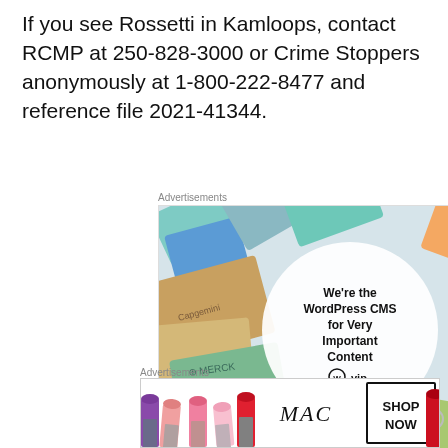If you see Rossetti in Kamloops, contact RCMP at 250-828-3000 or Crime Stoppers anonymously at 1-800-222-8477 and reference file 2021-41344.
Advertisements
[Figure (illustration): WordPress VIP advertisement showing colorful company logo cards (Meta, Facebook, Capgemini, Merck, Hachette, Salesforce, etc.) in background with a central white circle containing text 'We're the WordPress CMS for Very Important Content' with WordPress VIP logo and 'Learn more' button.]
Advertisements
[Figure (illustration): MAC Cosmetics advertisement showing colorful lipsticks on the left, MAC logo in center, and 'SHOP NOW' text in a box on the right.]